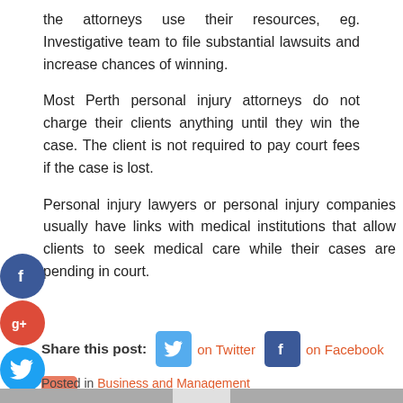the attorneys use their resources, eg. Investigative team to file substantial lawsuits and increase chances of winning.
Most Perth personal injury attorneys do not charge their clients anything until they win the case. The client is not required to pay court fees if the case is lost.
Personal injury lawyers or personal injury companies usually have links with medical institutions that allow clients to seek medical care while their cases are pending in court.
[Figure (infographic): Social media share section with Twitter, Facebook, and Google+ buttons labeled 'Share this post:']
Posted in Business and Management